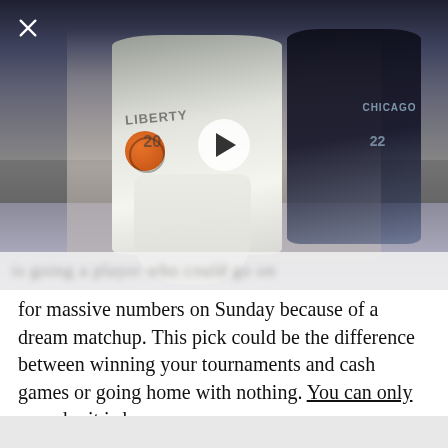[Figure (photo): WNBA basketball game photo showing a New York Liberty player (in white/grey jersey, number 20) dribbling past a Chicago Sky player (in black jersey, number 22). The Liberty player has long hair and is holding an orange basketball. Arena crowd visible in background. A play button (white circle with triangle) is overlaid in the center of the image. An X close button is in the top-left corner.]
...is going a player who could go on for massive numbers on Sunday because of a dream matchup. This pick could be the difference between winning your tournaments and cash games or going home with nothing. You can only see who it is here.